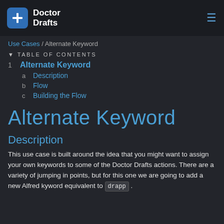Doctor Drafts
Use Cases / Alternate Keyword
▼ TABLE OF CONTENTS
1  Alternate Keyword
a  Description
b  Flow
c  Building the Flow
Alternate Keyword
Description
This use case is built around the idea that you might want to assign your own keywords to some of the Doctor Drafts actions. There are a variety of jumping in points, but for this one we are going to add a new Alfred kyword equivalent to drapp .